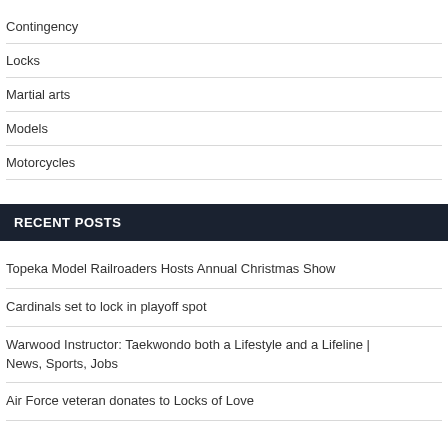Contingency
Locks
Martial arts
Models
Motorcycles
RECENT POSTS
Topeka Model Railroaders Hosts Annual Christmas Show
Cardinals set to lock in playoff spot
Warwood Instructor: Taekwondo both a Lifestyle and a Lifeline | News, Sports, Jobs
Air Force veteran donates to Locks of Love